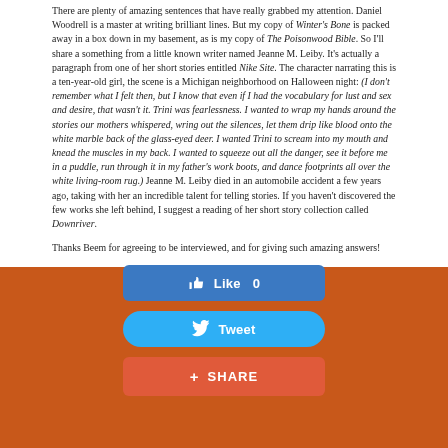There are plenty of amazing sentences that have really grabbed my attention. Daniel Woodrell is a master at writing brilliant lines. But my copy of Winter's Bone is packed away in a box down in my basement, as is my copy of The Poisonwood Bible. So I'll share a something from a little known writer named Jeanne M. Leiby. It's actually a paragraph from one of her short stories entitled Nike Site. The character narrating this is a ten-year-old girl, the scene is a Michigan neighborhood on Halloween night: (I don't remember what I felt then, but I know that even if I had the vocabulary for lust and sex and desire, that wasn't it. Trini was fearlessness. I wanted to wrap my hands around the stories our mothers whispered, wring out the silences, let them drip like blood onto the white marble back of the glass-eyed deer. I wanted Trini to scream into my mouth and knead the muscles in my back. I wanted to squeeze out all the danger, see it before me in a puddle, run through it in my father's work boots, and dance footprints all over the white living-room rug.) Jeanne M. Leiby died in an automobile accident a few years ago, taking with her an incredible talent for telling stories. If you haven't discovered the few works she left behind, I suggest a reading of her short story collection called Downriver.
Thanks Beem for agreeing to be interviewed, and for giving such amazing answers!
[Figure (infographic): Facebook Like button (blue rounded rectangle) showing 'Like 0', Twitter Tweet button (blue pill shape) showing 'Tweet', and a red Share button showing '+ SHARE']